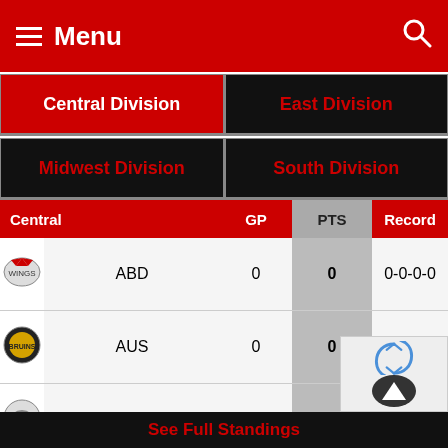Menu
|  | Central | GP | PTS | Record |
| --- | --- | --- | --- | --- |
| ABD | 0 | 0 | 0-0-0-0 |
| AUS | 0 | 0 | 0-0-0-0 |
| BIS | 0 | 0 | 0-0-0-0 |
| MNT | 0 | 0 | 0-0-0-0 |
| NIO | 0 | 0 | 0-0-0-0 |
| STN | 0 | 0 | 0-0-0-0 |
See Full Standings